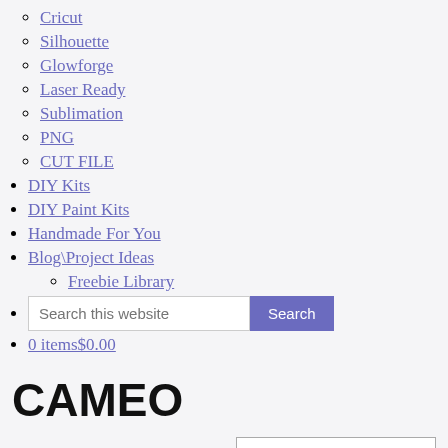Cricut
Silhouette
Glowforge
Laser Ready
Sublimation
PNG
CUT FILE
DIY Kits
DIY Paint Kits
Handmade For You
Blog\Project Ideas
Freebie Library
Search this website [Search button]
0 items$0.00
CAMEO
Showing 1–36 of 162 results